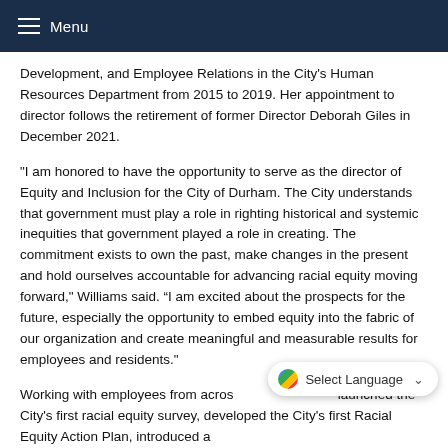Menu
Development, and Employee Relations in the City's Human Resources Department from 2015 to 2019. Her appointment to director follows the retirement of former Director Deborah Giles in December 2021.
"I am honored to have the opportunity to serve as the director of Equity and Inclusion for the City of Durham. The City understands that government must play a role in righting historical and systemic inequities that government played a role in creating. The commitment exists to own the past, make changes in the present and hold ourselves accountable for advancing racial equity moving forward," Williams said. “I am excited about the prospects for the future, especially the opportunity to embed equity into the fabric of our organization and create meaningful and measurable results for employees and residents."
Working with employees from across... launched the City’s first racial equity survey, developed the City’s first Racial Equity Action Plan, introduced a